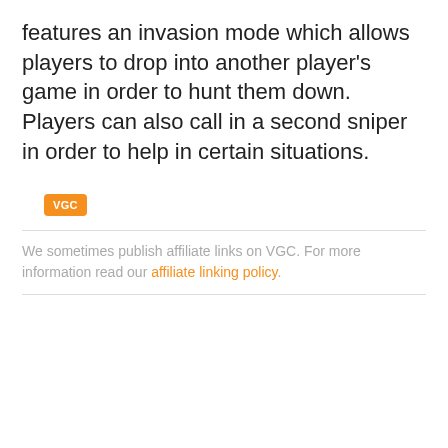features an invasion mode which allows players to drop into another player's game in order to hunt them down. Players can also call in a second sniper in order to help in certain situations.
[Figure (logo): VGC orange badge/tag label]
We sometimes publish affiliate links on VGC. For more information read our affiliate linking policy.
POPULAR NOW ON VGC
1  Diablo Immortal is out a day early on mobile, global PC release times confirmed